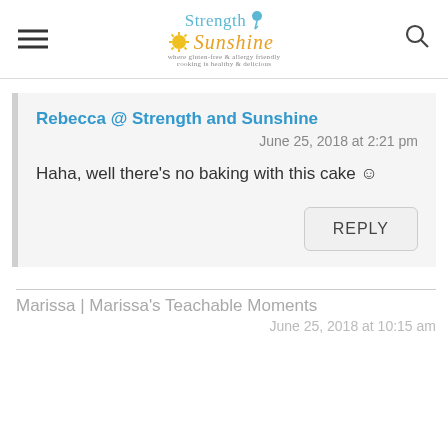Strength & Sunshine — site header with hamburger menu and search icon
Rebecca @ Strength and Sunshine
June 25, 2018 at 2:21 pm
Haha, well there's no baking with this cake ☺
REPLY
Marissa | Marissa's Teachable Moments
June 25, 2018 at 10:15 am